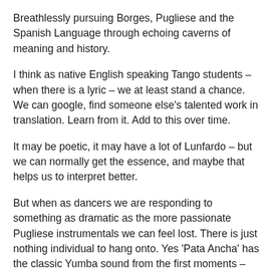Breathlessly pursuing Borges, Pugliese and the Spanish Language through echoing caverns of meaning and history.
I think as native English speaking Tango students – when there is a lyric – we at least stand a chance. We can google, find someone else's talented work in translation. Learn from it. Add to this over time.
It may be poetic, it may have a lot of Lunfardo – but we can normally get the essence, and maybe that helps us to interpret better.
But when as dancers we are responding to something as dramatic as the more passionate Pugliese instrumentals we can feel lost. There is just nothing individual to hang onto. Yes 'Pata Ancha' has the classic Yumba sound from the first moments – that signature marcato that might bring to mind the heartbeat of the city, or the metalworkers in the factory –